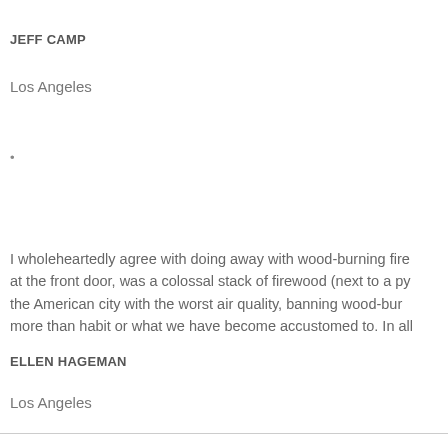JEFF CAMP
Los Angeles
•
I wholeheartedly agree with doing away with wood-burning fire at the front door, was a colossal stack of firewood (next to a py the American city with the worst air quality, banning wood-bur more than habit or what we have become accustomed to. In all
ELLEN HAGEMAN
Los Angeles